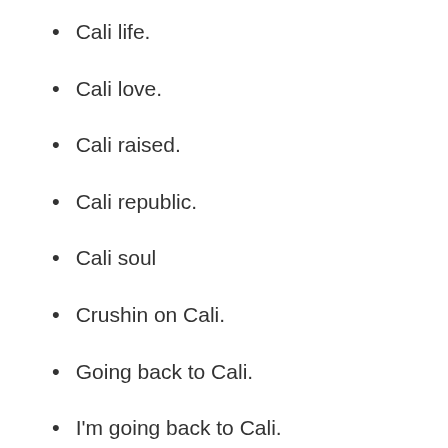Cali life.
Cali love.
Cali raised.
Cali republic.
Cali soul
Crushin on Cali.
Going back to Cali.
I'm going back to Cali.